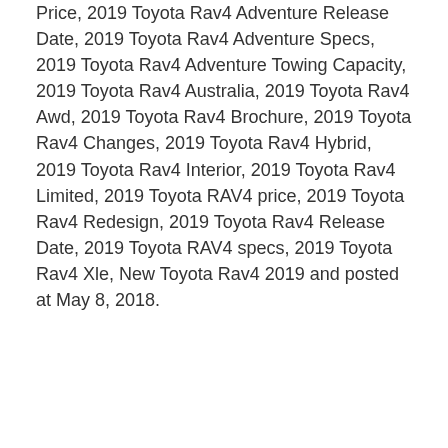Price, 2019 Toyota Rav4 Adventure Release Date, 2019 Toyota Rav4 Adventure Specs, 2019 Toyota Rav4 Adventure Towing Capacity, 2019 Toyota Rav4 Australia, 2019 Toyota Rav4 Awd, 2019 Toyota Rav4 Brochure, 2019 Toyota Rav4 Changes, 2019 Toyota Rav4 Hybrid, 2019 Toyota Rav4 Interior, 2019 Toyota Rav4 Limited, 2019 Toyota RAV4 price, 2019 Toyota Rav4 Redesign, 2019 Toyota Rav4 Release Date, 2019 Toyota RAV4 specs, 2019 Toyota Rav4 Xle, New Toyota Rav4 2019 and posted at May 8, 2018.